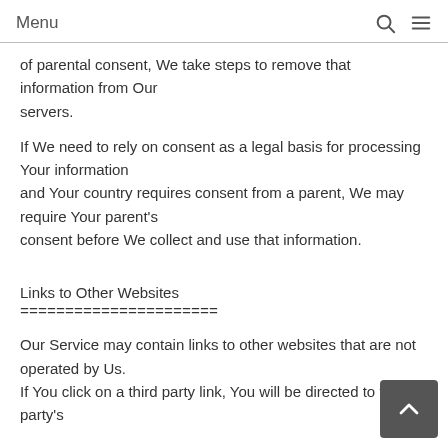Menu
of parental consent, We take steps to remove that information from Our servers.
If We need to rely on consent as a legal basis for processing Your information and Your country requires consent from a parent, We may require Your parent's consent before We collect and use that information.
Links to Other Websites
======================
Our Service may contain links to other websites that are not operated by Us. If You click on a third party link, You will be directed to that th party's